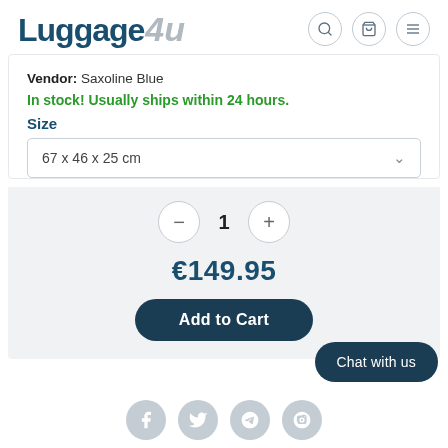Luggage4u
Vendor: Saxoline Blue
In stock! Usually ships within 24 hours.
Size
67 x 46 x 25 cm
1
€149.95
Add to Cart
Chat with us